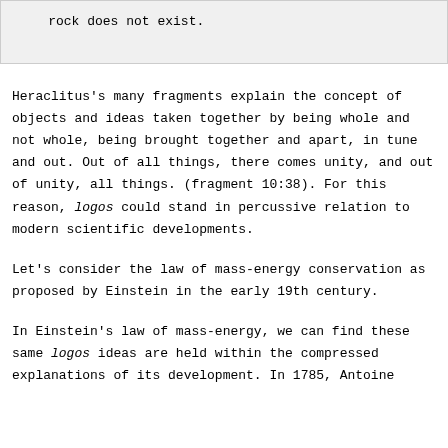rock does not exist.
Heraclitus's many fragments explain the concept of objects and ideas taken together by being whole and not whole, being brought together and apart, in tune and out. Out of all things, there comes unity, and out of unity, all things. (fragment 10:38). For this reason, logos could stand in percussive relation to modern scientific developments.
Let's consider the law of mass-energy conservation as proposed by Einstein in the early 19th century.
In Einstein's law of mass-energy, we can find these same logos ideas are held within the compressed explanations of its development. In 1785, Antoine